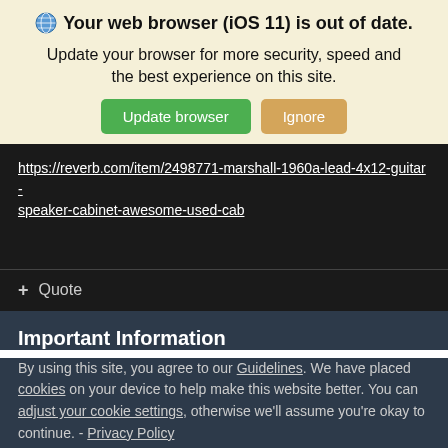Your web browser (iOS 11) is out of date.
Update your browser for more security, speed and the best experience on this site.
Update browser   Ignore
https://reverb.com/item/2498771-marshall-1960a-lead-4x12-guitar-speaker-cabinet-awesome-used-cab
+ Quote
Important Information
By using this site, you agree to our Guidelines. We have placed cookies on your device to help make this website better. You can adjust your cookie settings, otherwise we'll assume you're okay to continue. - Privacy Policy
✓  I accept